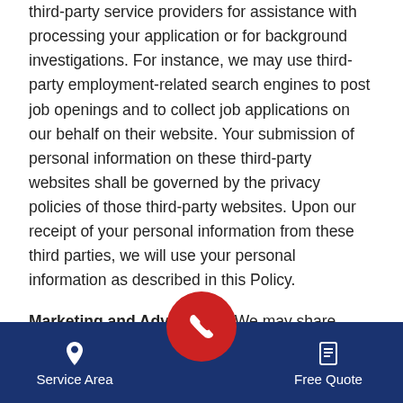third-party service providers for assistance with processing your application or for background investigations. For instance, we may use third-party employment-related search engines to post job openings and to collect job applications on our behalf on their website. Your submission of personal information on these third-party websites shall be governed by the privacy policies of those third-party websites. Upon our receipt of your personal information from these third parties, we will use your personal information as described in this Policy.
Marketing and Advertising. We may share personal information with our business partners and vendors who may share information with you about their products or services, such as homeowner financing. To opt-out of our
[Figure (other): Mobile app bottom navigation bar with dark navy blue background, containing Service Area (map pin icon), a central red circular phone call button, and Free Quote (document icon) options.]